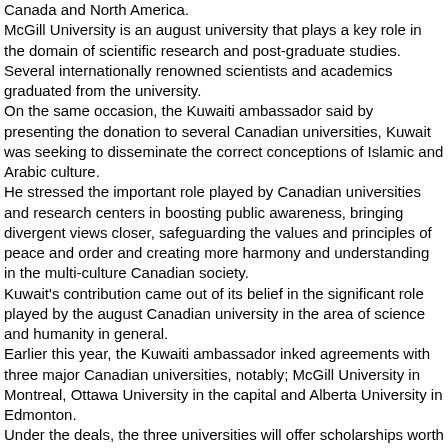Canada and North America.
McGill University is an august university that plays a key role in the domain of scientific research and post-graduate studies. Several internationally renowned scientists and academics graduated from the university.
On the same occasion, the Kuwaiti ambassador said by presenting the donation to several Canadian universities, Kuwait was seeking to disseminate the correct conceptions of Islamic and Arabic culture.
He stressed the important role played by Canadian universities and research centers in boosting public awareness, bringing divergent views closer, safeguarding the values and principles of peace and order and creating more harmony and understanding in the multi-culture Canadian society.
Kuwait's contribution came out of its belief in the significant role played by the august Canadian university in the area of science and humanity in general.
Earlier this year, the Kuwaiti ambassador inked agreements with three major Canadian universities, notably; McGill University in Montreal, Ottawa University in the capital and Alberta University in Edmonton.
Under the deals, the three universities will offer scholarships worth one million Canadian dollars in the name of the State of Kuwait for promoting Arabic and Islamic studies in Canada. (end) mh.mt KUNA 210954 Oct 07NNNN